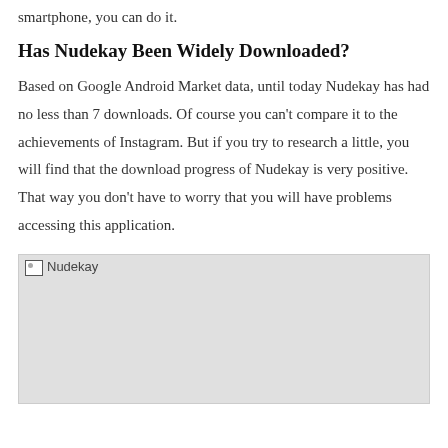smartphone, you can do it.
Has Nudekay Been Widely Downloaded?
Based on Google Android Market data, until today Nudekay has had no less than 7 downloads. Of course you can't compare it to the achievements of Instagram. But if you try to research a little, you will find that the download progress of Nudekay is very positive. That way you don't have to worry that you will have problems accessing this application.
[Figure (photo): Nudekay image placeholder (broken image with alt text 'Nudekay')]